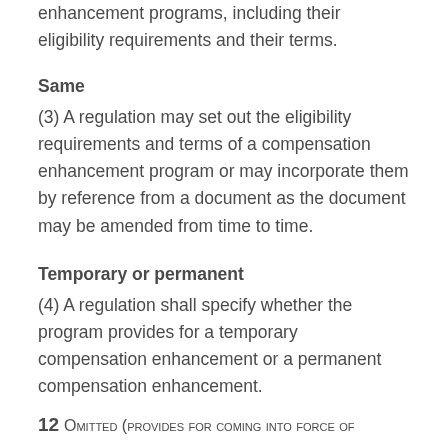enhancement programs, including their eligibility requirements and their terms.
Same
(3) A regulation may set out the eligibility requirements and terms of a compensation enhancement program or may incorporate them by reference from a document as the document may be amended from time to time.
Temporary or permanent
(4) A regulation shall specify whether the program provides for a temporary compensation enhancement or a permanent compensation enhancement.
12 Omitted (provides for coming into force of